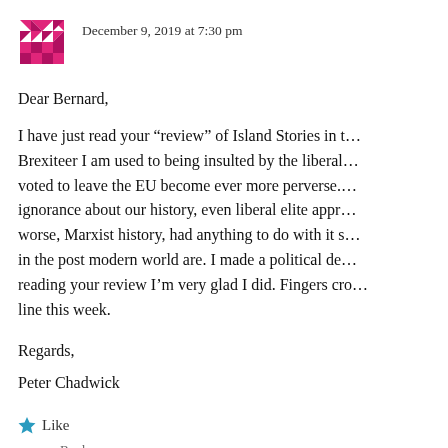[Figure (logo): Pink/magenta diamond pattern avatar icon]
December 9, 2019 at 7:30 pm
Dear Bernard,
I have just read your “review” of Island Stories in t… Brexiteer I am used to being insulted by the liberal… voted to leave the EU become ever more perverse.… ignorance about our history, even liberal elite appr… worse, Marxist history, had anything to do with it s… in the post modern world are. I made a political de… reading your review I’m very glad I did. Fingers cro… line this week.
Regards,
Peter Chadwick
★ Like
Reply